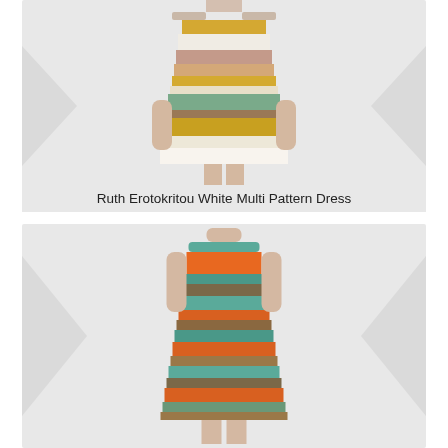[Figure (photo): Woman wearing a striped knit dress with horizontal bands in yellow, white, pink, tan, green and cream colors. Only torso and lower body visible.]
Ruth Erotokritou White Multi Pattern Dress
[Figure (photo): Woman wearing a sleeveless fitted knit dress with horizontal stripes in teal, orange, and brown/earth tones. Neck to knees visible.]